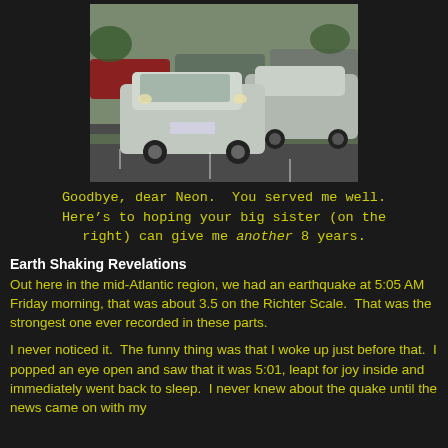[Figure (photo): A silver Dodge Neon compact car parked in a parking lot, with a larger silver sedan parked to its right, and more cars visible in the background.]
Goodbye, dear Neon.  You served me well.  Here’s to hoping your big sister (on the right) can give me another 8 years.
Earth Shaking Revelations
Out here in the mid-Atlantic region, we had an earthquake at 5:05 AM Friday morning, that was about 3.5 on the Richter Scale.  That was the strongest one ever recorded in these parts.
I never noticed it.  The funny thing was that I woke up just before that.  I popped an eye open and saw that it was 5:01, leapt for joy inside and immediately went back to sleep.  I never knew about the quake until the news came on with my alarm at 6 AM.